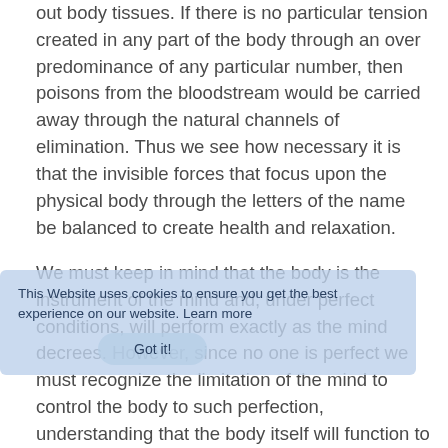out body tissues. If there is no particular tension created in any part of the body through an over predominance of any particular number, then poisons from the bloodstream would be carried away through the natural channels of elimination. Thus we see how necessary it is that the invisible forces that focus upon the physical body through the letters of the name be balanced to create health and relaxation.
We must keep in mind that the body is the instrument of the mind and, under perfect conditions, will perform exactly as the mind decrees. However, since no one is perfect we must recognize the limitation of the mind to control the body to such perfection, understanding that the body itself will function to some degree independently of the mind's control, as it functions automatically and instinctively in the natural digestive process. Where the mind controls, improvement can be recognized. But where the mind interferes through worry, tension, intensity, moods, and reactions of all